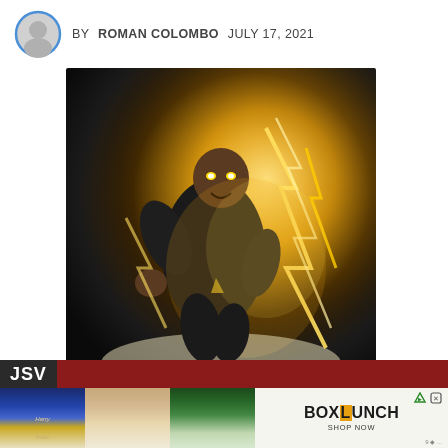BY ROMAN COLOMBO  JULY 17, 2021
[Figure (illustration): Action illustration of a superhero character (Black Adam / Dwayne Johnson likeness) in a black costume with glowing yellow eyes, surrounded by dramatic lightning and fire effects, leaping/flying forward with fist extended, dark smoky background]
[Figure (screenshot): Website advertisement banner showing 'JSV' text on dark bar, red stripe, and BoxLunch shop advertisement below with product images of Harry Potter themed merchandise]